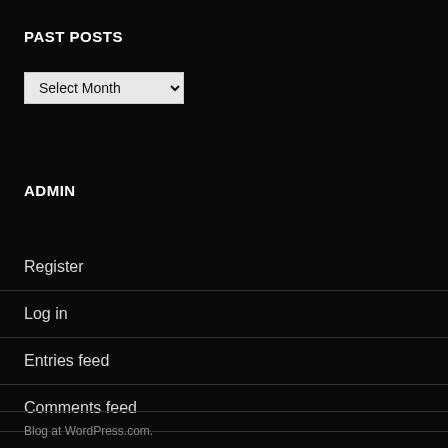PAST POSTS
[Figure (screenshot): A dropdown select element labeled 'Select Month' with a chevron arrow, styled with light gray background]
ADMIN
Register
Log in
Entries feed
Comments feed
WordPress.com
Blog at WordPress.com.